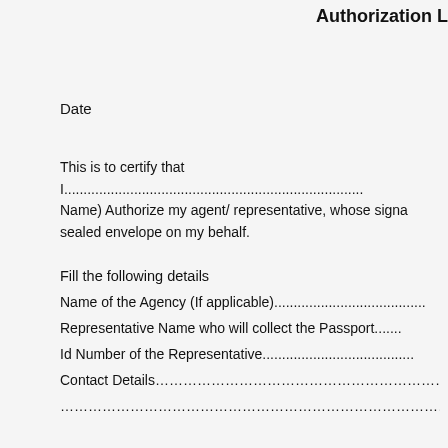Authorization L
Date
This is to certify that I............................................................. Name) Authorize my agent/ representative, whose signa sealed envelope on my behalf.
Fill the following details
Name of the Agency (If applicable)......................................
Representative Name who will collect the Passport.......
Id Number of the Representative......................................
Contact Details………………………………………………………
………………………………………………………………………………